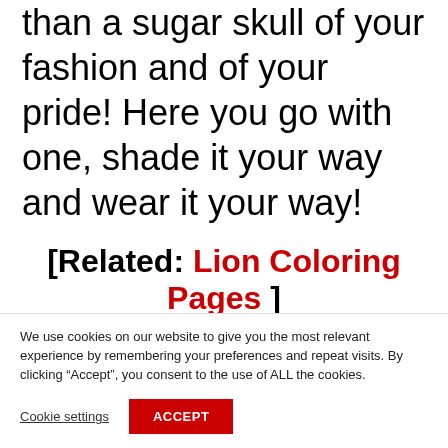than a sugar skull of your fashion and of your pride! Here you go with one, shade it your way and wear it your way!
[Related: Lion Coloring Pages ]
We use cookies on our website to give you the most relevant experience by remembering your preferences and repeat visits. By clicking “Accept”, you consent to the use of ALL the cookies.
Cookie settings
ACCEPT